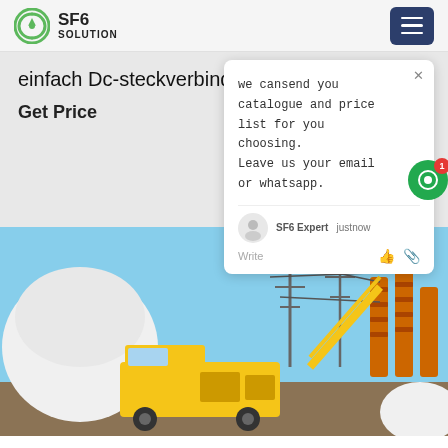SF6 SOLUTION
einfach Dc-steckverbinder zu beziehen.
Get Price
we cansend you catalogue and price list for you choosing. Leave us your email or whatsapp.
SF6 Expert   justnow
Write
[Figure (photo): Outdoor electrical substation with yellow service truck/vehicle, large white insulated equipment, high-voltage transmission line towers, and orange insulator bushings under a blue sky.]